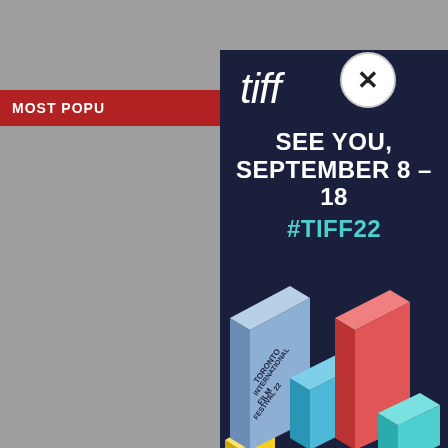MOST POPULAR
ber 4
dia By 5
with Sports
[Figure (screenshot): TIFF (Toronto International Film Festival) advertisement popup/modal on a gray webpage background. The dark navy modal shows the TIFF logo in white italic text, followed by bold white uppercase text 'SEE YOU, SEPTEMBER 8 – 18' and cyan/teal hashtag '#TIFF22'. The bottom portion features an isometric 3D illustration of colorful boxes with text 'TORONTO INTERNATIONAL FILM FESTIVAL 22'. A close button (X in white circle) appears top-right of the modal.]